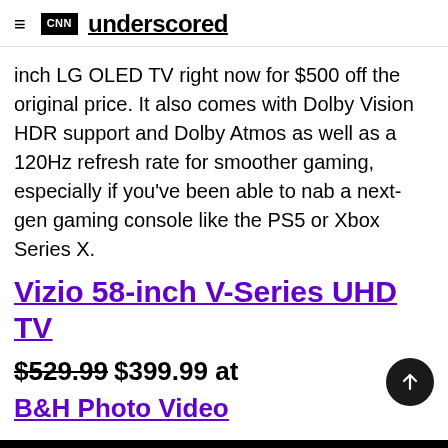CNN underscored
inch LG OLED TV right now for $500 off the original price. It also comes with Dolby Vision HDR support and Dolby Atmos as well as a 120Hz refresh rate for smoother gaming, especially if you've been able to nab a next-gen gaming console like the PS5 or Xbox Series X.
Vizio 58-inch V-Series UHD TV
$529.99 $399.99 at B&H Photo Video